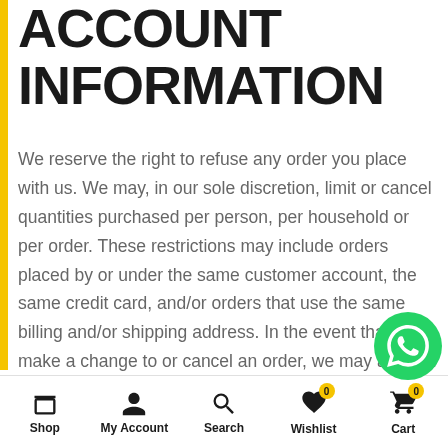ACCOUNT INFORMATION
We reserve the right to refuse any order you place with us. We may, in our sole discretion, limit or cancel quantities purchased per person, per household or per order. These restrictions may include orders placed by or under the same customer account, the same credit card, and/or orders that use the same billing and/or shipping address. In the event that we make a change to or cancel an order, we may attempt to notify you by contacting the e-mail and/or billing address/phone number provided at the time the order was made. We reserve the right to limit or prohibit orders
Shop | My Account | Search | Wishlist | Cart